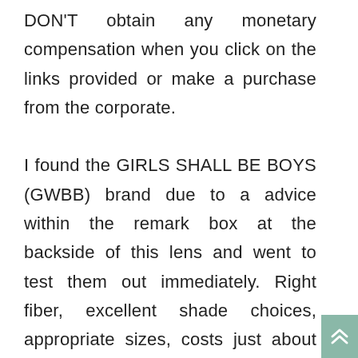DON'T obtain any monetary compensation when you click on the links provided or make a purchase from the corporate.

I found the GIRLS SHALL BE BOYS (GWBB) brand due to a advice within the remark box at the backside of this lens and went to test them out immediately. Right fiber, excellent shade choices, appropriate sizes, costs just about par for the course.... so I ordered